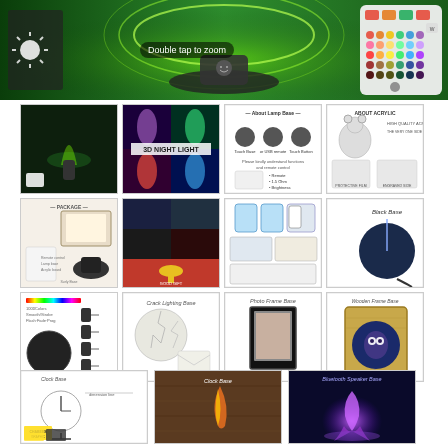[Figure (photo): Hero banner showing a 3D night light with green illumination and a multi-color remote control on the right. Text overlay reads 'Double tap to zoom'.]
[Figure (photo): 3D night light product photo showing green glowing anime figure]
[Figure (photo): 3D Night Light product collage showing multiple color modes]
[Figure (photo): About Lamp Base informational diagram]
[Figure (photo): About Acrylic informational diagram]
[Figure (photo): Package contents photo]
[Figure (photo): Collage of product usage scenes including Christmas scenes]
[Figure (photo): Product feature diagram showing lamp base variants and app control]
[Figure (photo): Black Base product photo]
[Figure (photo): Product photo showing base with multiple USB adapters]
[Figure (photo): Crack Lighting Base product photo]
[Figure (photo): Photo Frame Base product photo]
[Figure (photo): Wooden Frame Base product photo]
[Figure (photo): Clock Base informational diagram]
[Figure (photo): Clock Base product photo]
[Figure (photo): Bluetooth Speaker Base product photo]